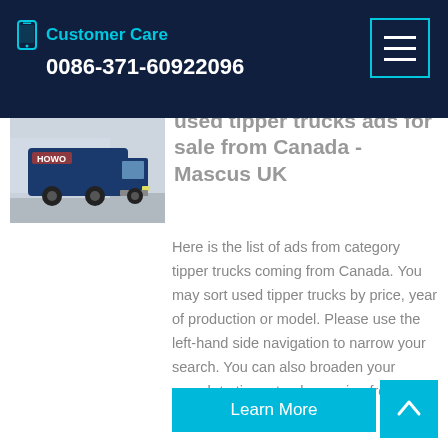Customer Care 0086-371-60922096
used tipper trucks ads for sale from Canada - Mascus UK
[Figure (photo): Blue tipper truck front view in outdoor setting]
Here is the list of ads from category tipper trucks coming from Canada. You may sort used tipper trucks by price, year of production or model. Please use the left-hand side navigation to narrow your search. You can also broaden your search to tipper trucks coming from other countries.
Learn More